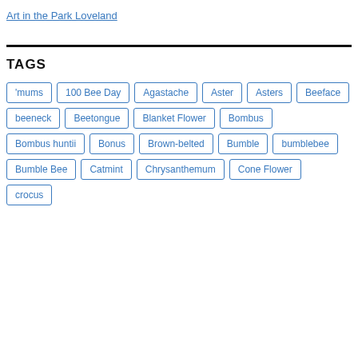Art in the Park Loveland
TAGS
'mums
100 Bee Day
Agastache
Aster
Asters
Beeface
beeneck
Beetongue
Blanket Flower
Bombus
Bombus huntii
Bonus
Brown-belted
Bumble
bumblebee
Bumble Bee
Catmint
Chrysanthemum
Cone Flower
crocus